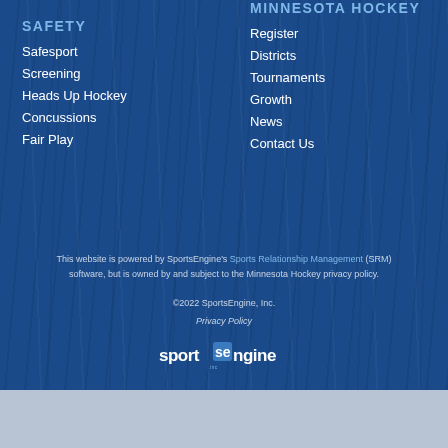SAFETY
Safesport
Screening
Heads Up Hockey
Concussions
Fair Play
MINNESOTA HOCKEY
Register
Districts
Tournaments
Growth
News
Contact Us
This website is powered by SportsEngine's Sports Relationship Management (SRM) software, but is owned by and subject to the Minnesota Hockey privacy policy.
©2022 SportsEngine, Inc.
Privacy Policy
[Figure (logo): SportsEngine logo in white on dark blue background]